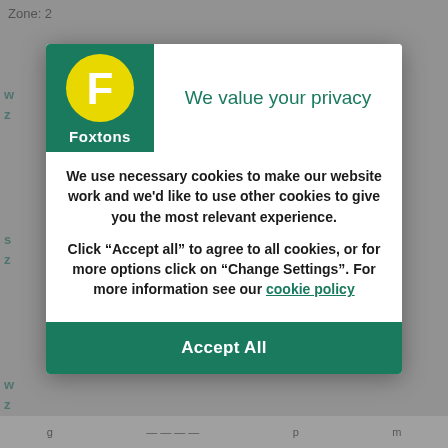Zone: 2
[Figure (logo): Foxtons logo: green square background with yellow circle containing white F letter and white Foxtons text below]
We value your privacy
We use necessary cookies to make our website work and we'd like to use other cookies to give you the most relevant experience.
Click “Accept all” to agree to all cookies, or for more options click on “Change Settings”. For more information see our cookie policy